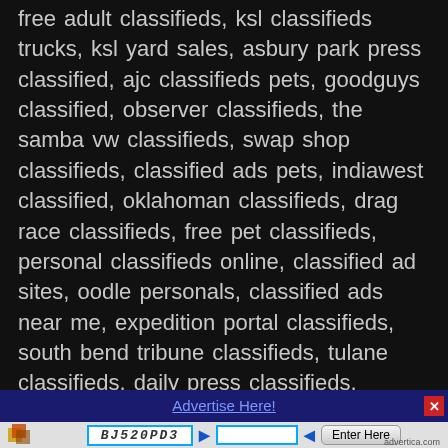free adult classifieds, ksl classifieds trucks, ksl yard sales, asbury park press classified, ajc classifieds pets, goodguys classified, observer classifieds, the samba vw classifieds, swap shop classifieds, classified ads pets, indiawest classified, oklahoman classifieds, drag race classifieds, free pet classifieds, personal classifieds online, classified ad sites, oodle personals, classified ads near me, expedition portal classifieds, south bend tribune classifieds, tulane classifieds, daily press classifieds, houston chronicle classifieds, roanoke times classifieds, the classifieds, akron beacon journal classifieds, victoria advocate classifieds, beaver county times classifieds, bargain news pets, charleston gazette classifieds, gainesville times classifieds, altoona mirror classifieds, salisbury post classifieds, tampa bay times classified, midwest sprint car
Advertise Here!
BJ520PD3
Enter Here
advertica.com